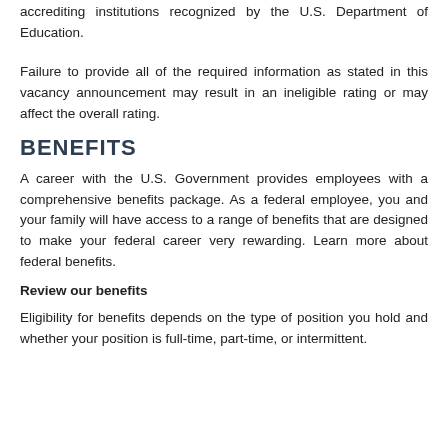accrediting institutions recognized by the U.S. Department of Education.
Failure to provide all of the required information as stated in this vacancy announcement may result in an ineligible rating or may affect the overall rating.
BENEFITS
A career with the U.S. Government provides employees with a comprehensive benefits package. As a federal employee, you and your family will have access to a range of benefits that are designed to make your federal career very rewarding. Learn more about federal benefits.
Review our benefits
Eligibility for benefits depends on the type of position you hold and whether your position is full-time, part-time, or intermittent.